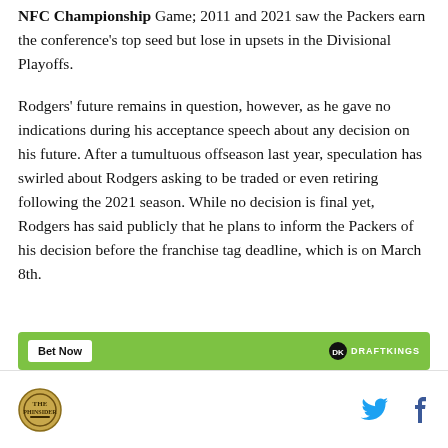NFC Championship Game; 2011 and 2021 saw the Packers earn the conference's top seed but lose in upsets in the Divisional Playoffs.
Rodgers' future remains in question, however, as he gave no indications during his acceptance speech about any decision on his future. After a tumultuous offseason last year, speculation has swirled about Rodgers asking to be traded or even retiring following the 2021 season. While no decision is final yet, Rodgers has said publicly that he plans to inform the Packers of his decision before the franchise tag deadline, which is on March 8th.
[Figure (other): Green DraftKings promotional bet banner with white Bet Now button and DraftKings logo on right]
Site logo on left; Twitter and Facebook social icons on right